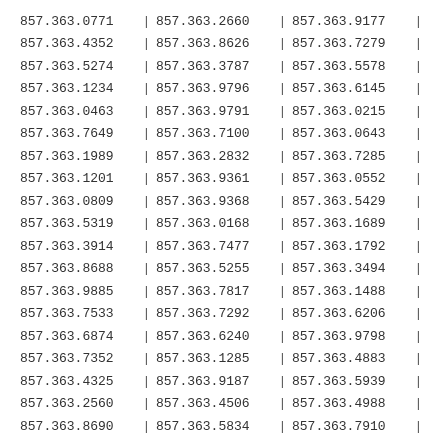| 857.363.0771 | | | 857.363.2660 | | | 857.363.9177 | | |
| 857.363.4352 | | | 857.363.8626 | | | 857.363.7279 | | |
| 857.363.5274 | | | 857.363.3787 | | | 857.363.5578 | | |
| 857.363.1234 | | | 857.363.9796 | | | 857.363.6145 | | |
| 857.363.0463 | | | 857.363.9791 | | | 857.363.0215 | | |
| 857.363.7649 | | | 857.363.7100 | | | 857.363.0643 | | |
| 857.363.1989 | | | 857.363.2832 | | | 857.363.7285 | | |
| 857.363.1201 | | | 857.363.9361 | | | 857.363.0552 | | |
| 857.363.0809 | | | 857.363.9368 | | | 857.363.5429 | | |
| 857.363.5319 | | | 857.363.0168 | | | 857.363.1689 | | |
| 857.363.3914 | | | 857.363.7477 | | | 857.363.1792 | | |
| 857.363.8688 | | | 857.363.5255 | | | 857.363.3494 | | |
| 857.363.9885 | | | 857.363.7817 | | | 857.363.1488 | | |
| 857.363.7533 | | | 857.363.7292 | | | 857.363.6206 | | |
| 857.363.6874 | | | 857.363.6240 | | | 857.363.9798 | | |
| 857.363.7352 | | | 857.363.1285 | | | 857.363.4883 | | |
| 857.363.4325 | | | 857.363.9187 | | | 857.363.5939 | | |
| 857.363.2560 | | | 857.363.4506 | | | 857.363.4988 | | |
| 857.363.8690 | | | 857.363.5834 | | | 857.363.7910 | | |